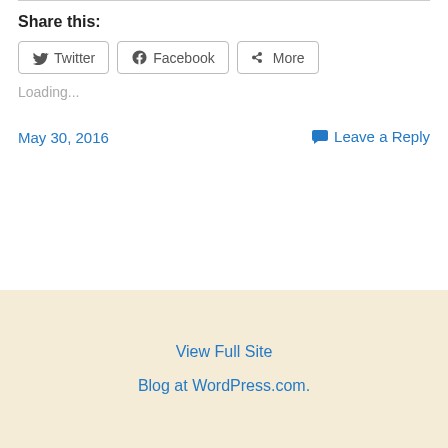Share this:
Twitter Facebook More
Loading...
May 30, 2016
Leave a Reply
View Full Site
Blog at WordPress.com.